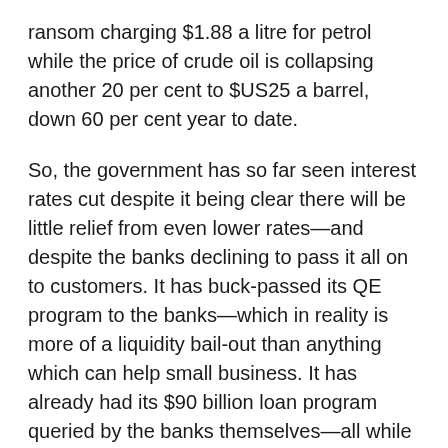ransom charging $1.88 a litre for petrol while the price of crude oil is collapsing another 20 per cent to $US25 a barrel, down 60 per cent year to date.
So, the government has so far seen interest rates cut despite it being clear there will be little relief from even lower rates—and despite the banks declining to pass it all on to customers. It has buck-passed its QE program to the banks—which in reality is more of a liquidity bail-out than anything which can help small business. It has already had its $90 billion loan program queried by the banks themselves—all while ramping up its buying of assets from the banks.
Over the past week the Reserve Bank's repo holdings have soared to $20 billion which means they are using taxpayer money to cover the banks'